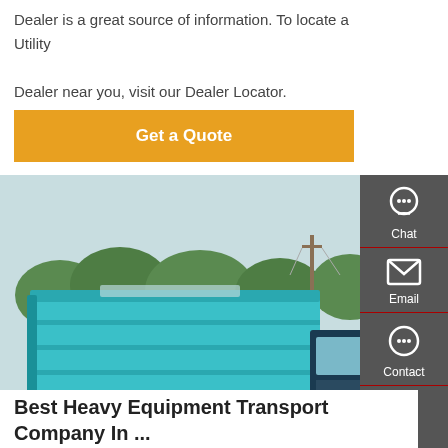Dealer is a great source of information. To locate a Utility Dealer near you, visit our Dealer Locator.
Get a Quote
[Figure (photo): A teal/turquoise heavy-duty dump truck (6-wheel drive) parked on a paved surface with trees and utility poles in the background.]
Best Heavy Equipment Transport Company In ...